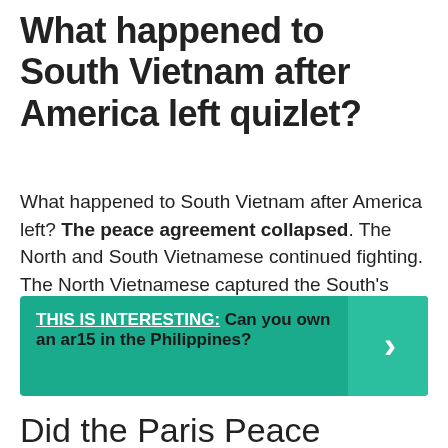What happened to South Vietnam after America left quizlet?
What happened to South Vietnam after America left? The peace agreement collapsed. The North and South Vietnamese continued fighting. The North Vietnamese captured the South's capital and the South Vietnamese surrendered.
THIS IS INTERESTING: Can you own an ar15 in the Philippines?
Did the Paris Peace Accords bring an end to fighting in Vietnam, explain?